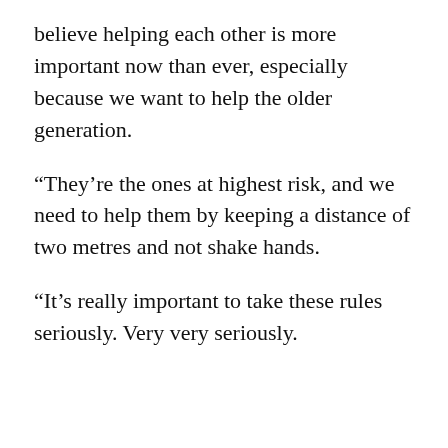believe helping each other is more important now than ever, especially because we want to help the older generation.
“They’re the ones at highest risk, and we need to help them by keeping a distance of two metres and not shake hands.
“It’s really important to take these rules seriously. Very very seriously.